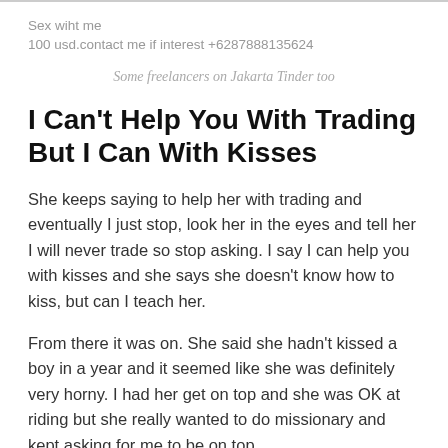Sex wiht me
100 usd.contact me if interest +6287888135624
Some freelancers on Jakarta Tinder too
I Can’t Help You With Trading But I Can With Kisses
She keeps saying to help her with trading and eventually I just stop, look her in the eyes and tell her I will never trade so stop asking. I say I can help you with kisses and she says she doesn’t know how to kiss, but can I teach her.
From there it was on. She said she hadn’t kissed a boy in a year and it seemed like she was definitely very horny. I had her get on top and she was OK at riding but she really wanted to do missionary and kept asking for me to be on top.
Overall it was a very satisfying day. What a stroke of luck...